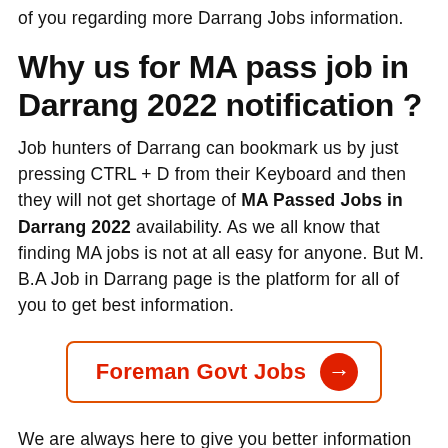of you regarding more Darrang Jobs information.
Why us for MA pass job in Darrang 2022 notification ?
Job hunters of Darrang can bookmark us by just pressing CTRL + D from their Keyboard and then they will not get shortage of MA Passed Jobs in Darrang 2022 availability. As we all know that finding MA jobs is not at all easy for anyone. But M. B.A Job in Darrang page is the platform for all of you to get best information.
[Figure (other): Button link: Foreman Govt Jobs with orange border and red arrow circle]
We are always here to give you better information